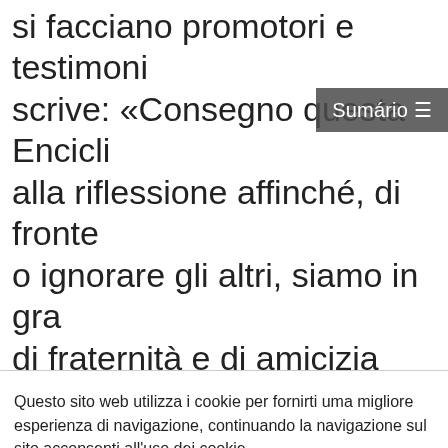si facciano promotori e testimoni scrive: «Consegno questa Encicli alla riflessione affinché, di fronte o ignorare gli altri, siamo in gra di fraternità e di amicizia social avendola scritta a partire dalle animano e mi nutrono, ho cercato si apra al dialogo con tutte le pe
Sumário ☰
Questo sito web utilizza i cookie per fornirti uma migliore esperienza di navigazione, continuando la navigazione sul sito acconsenti all'uso dei cookie.